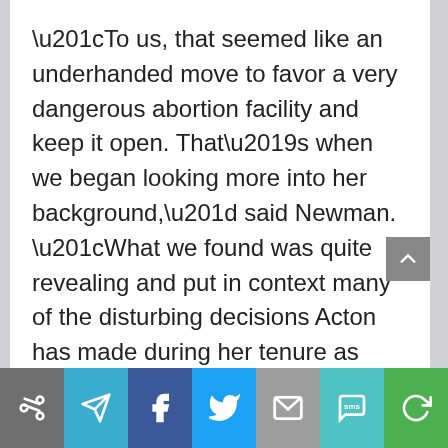“To us, that seemed like an underhanded move to favor a very dangerous abortion facility and keep it open. That’s when we began looking more into her background,” said Newman. “What we found was quite revealing and put in context many of the disturbing decisions Acton has made during her tenure as ODH chief.”